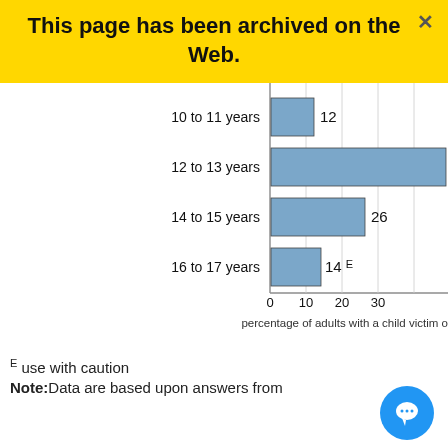[Figure (bar-chart): percentage of adults with a child victim of cyberbullying, by age group]
E use with caution
Note: Data are based upon answers from